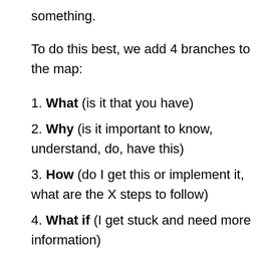something.
To do this best, we add 4 branches to the map:
1. What (is it that you have)
2. Why (is it important to know, understand, do, have this)
3. How (do I get this or implement it, what are the X steps to follow)
4. What if (I get stuck and need more information)
Let's see this in action when looking at this step. Here we go: